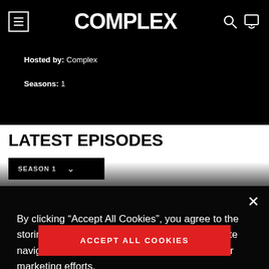COMPLEX
Hosted by: Complex
Seasons: 1
LATEST EPISODES
SEASON 1
By clicking “Accept All Cookies”, you agree to the storing of cookies on your device to enhance site navigation, analyze site usage, and assist in our marketing efforts.
ACCEPT ALL COOKIES